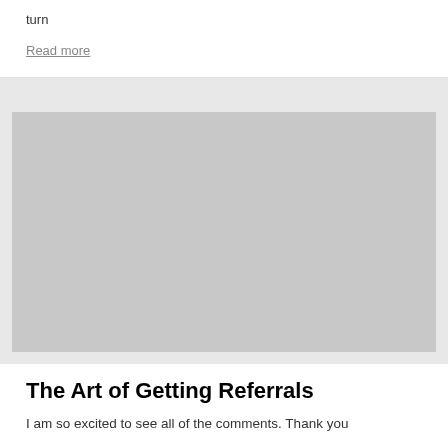turn
Read more
[Figure (photo): Gray placeholder image for article]
The Art of Getting Referrals
I am so excited to see all of the comments. Thank you